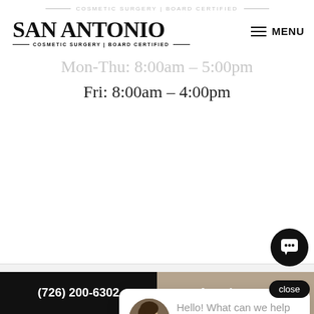COSMETIC SURGERY | BOARD CERTIFIED
[Figure (logo): San Antonio Cosmetic Surgery Board Certified logo with serif bold text]
Mon-Thu: 8:00am – 5:00pm
Fri: 8:00am – 4:00pm
close
Hello! What can we help you with?
© 2022
RESERVED | PRIVACY POLICY | ACCESSIBILITY
[Figure (logo): Influx Plastic Surgeon Marketing logo]
(726) 200-6302
Appointment